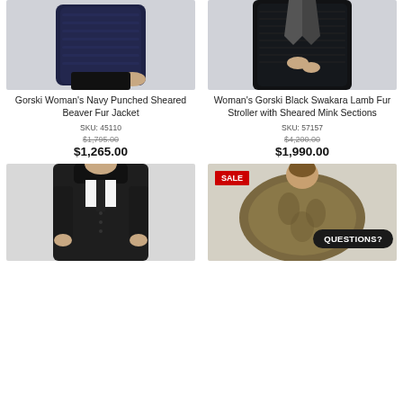[Figure (photo): Woman wearing navy sheared beaver fur jacket against light gray background, cropped torso view]
Gorski Woman's Navy Punched Sheared Beaver Fur Jacket
SKU: 45110
$1,795.00
$1,265.00
[Figure (photo): Woman wearing black Swakara lamb fur stroller with sheared mink sections, cropped torso view]
Woman's Gorski Black Swakara Lamb Fur Stroller with Sheared Mink Sections
SKU: 57157
$4,200.00
$1,990.00
[Figure (photo): Woman wearing black coat with fur collar trim, cropped view]
[Figure (photo): Woman wearing brown fur stole/cape with Sale badge and Questions? chat button overlay]